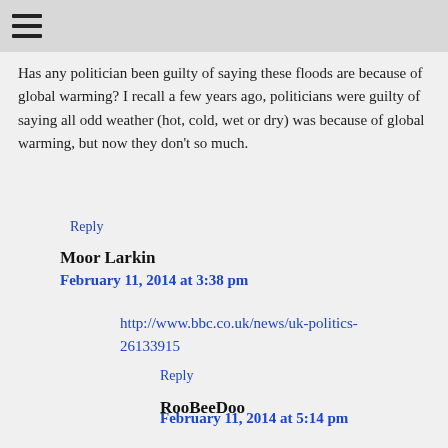☰
Has any politician been guilty of saying these floods are because of global warming? I recall a few years ago, politicians were guilty of saying all odd weather (hot, cold, wet or dry) was because of global warming, but now they don't so much.
Reply
Moor Larkin
February 11, 2014 at 3:38 pm
http://www.bbc.co.uk/news/uk-politics-26133915
Reply
RooBeeDoo
February 11, 2014 at 5:14 pm
http://www.yorkshirepost.co.uk/news/main-topics/politics/pm-defends-